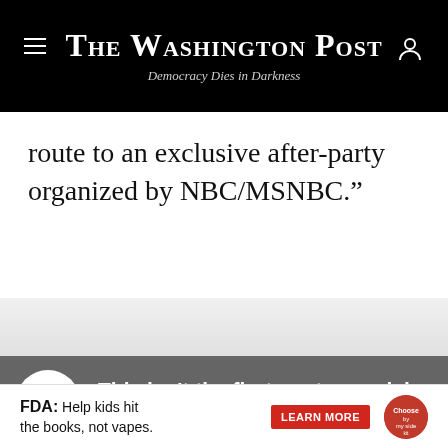The Washington Post — Democracy Dies in Darkness
route to an exclusive after-party organized by NBC/MSNBC.”
[Figure (screenshot): Washington Post paywall overlay showing faded content with The Washington Post watermark logo in gray]
This isn't the first controversial cor...
[Figure (infographic): FDA advertisement: Help kids hit the books, not vapes. LEARN MORE button with Choose by my side kit logo]